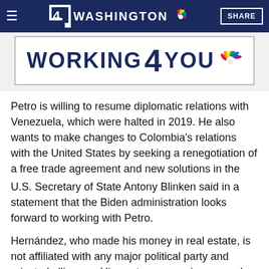4 WASHINGTON | SHARE
[Figure (logo): NBC 4 Washington 'Working 4 You' logo banner with NBC peacock]
Petro is willing to resume diplomatic relations with Venezuela, which were halted in 2019. He also wants to make changes to Colombia's relations with the United States by seeking a renegotiation of a free trade agreement and new solutions in the fight against drug trafficking.
U.S. Secretary of State Antony Blinken said in a statement that the Biden administration looks forward to working with Petro.
Hernández, who made his money in real estate, is not affiliated with any major political party and rejected alliances. His austere campaign, waged mostly on TikTok